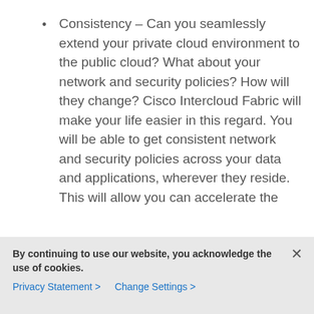Consistency – Can you seamlessly extend your private cloud environment to the public cloud? What about your network and security policies? How will they change? Cisco Intercloud Fabric will make your life easier in this regard. You will be able to get consistent network and security policies across your data and applications, wherever they reside. This will allow you can accelerate the
By continuing to use our website, you acknowledge the use of cookies.
Privacy Statement > Change Settings >